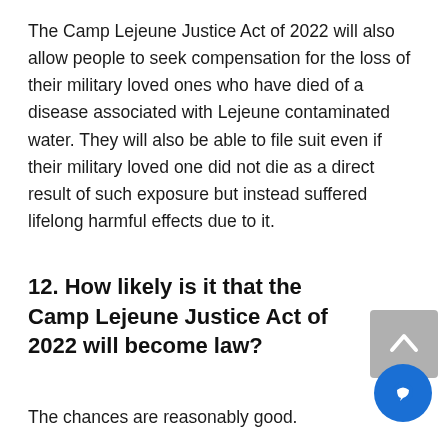The Camp Lejeune Justice Act of 2022 will also allow people to seek compensation for the loss of their military loved ones who have died of a disease associated with Lejeune contaminated water. They will also be able to file suit even if their military loved one did not die as a direct result of such exposure but instead suffered lifelong harmful effects due to it.
12. How likely is it that the Camp Lejeune Justice Act of 2022 will become law?
The chances are reasonably good. The